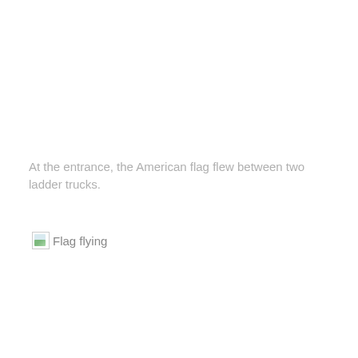At the entrance, the American flag flew between two ladder trucks.
[Figure (photo): Broken image placeholder labeled 'Flag flying']